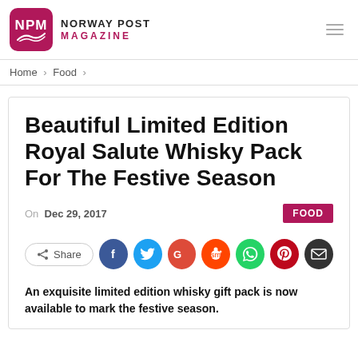NPM NORWAY POST MAGAZINE
Home > Food >
Beautiful Limited Edition Royal Salute Whisky Pack For The Festive Season
On Dec 29, 2017  FOOD
[Figure (infographic): Social share buttons: Share, Facebook, Twitter, Google+, Reddit, WhatsApp, Pinterest, Email]
An exquisite limited edition whisky gift pack is now available to mark the festive season.